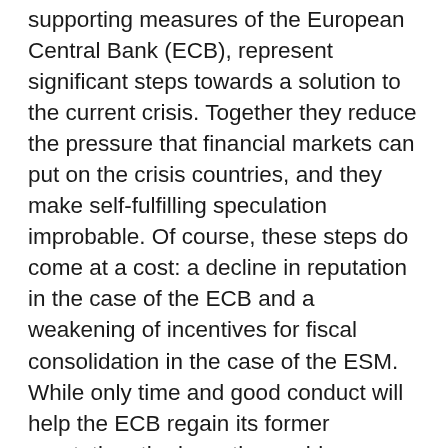supporting measures of the European Central Bank (ECB), represent significant steps towards a solution to the current crisis. Together they reduce the pressure that financial markets can put on the crisis countries, and they make self-fulfilling speculation improbable. Of course, these steps do come at a cost: a decline in reputation in the case of the ECB and a weakening of incentives for fiscal consolidation in the case of the ESM. While only time and good conduct will help the ECB regain its former reputation, the incentive problem can be addressed institutionally. To that end, we propose a European Consolidation Pact (ECP). This pact takes up elements of the Greek rescue package and the ESM, but places them within a consistent, systematic framework for the